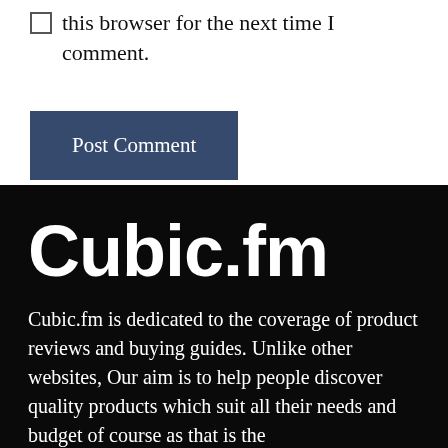this browser for the next time I comment.
Post Comment
Cubic.fm
Cubic.fm is dedicated to the coverage of product reviews and buying guides. Unlike other websites, Our aim is to help people discover quality products which suit all their needs and budget of course as that is the